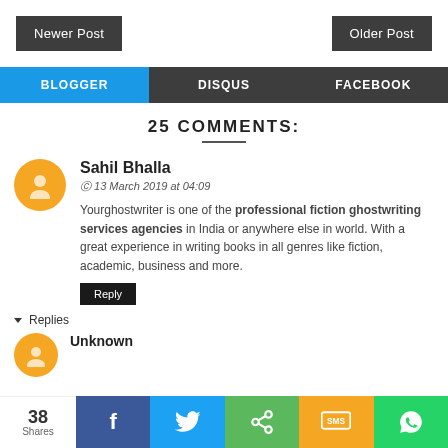Newer Post
Older Post
BLOGGER | DISQUS | FACEBOOK
25 COMMENTS:
Sahil Bhalla
13 March 2019 at 04:09
Yourghostwriter is one of the professional fiction ghostwriting services agencies in India or anywhere else in world. With a great experience in writing books in all genres like fiction, academic, business and more.
Reply
Replies
Unknown
38 Shares